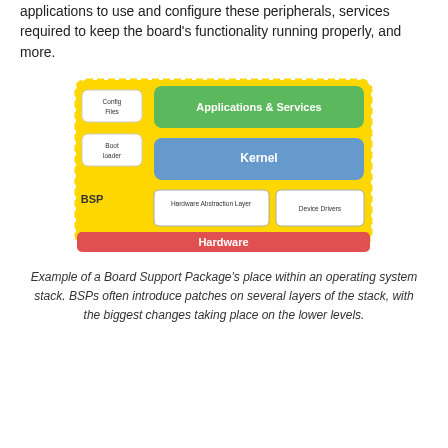applications to use and configure these peripherals, services required to keep the board's functionality running properly, and more.
[Figure (engineering-diagram): Layered diagram showing BSP (Board Support Package) place in an OS stack: top green layer 'Applications & Services', blue middle layer 'Kernel', yellow dashed BSP region with 'Config Files' and 'Boot loader' on left, 'Hardware Abstraction Layer' and 'Device Drivers' boxes inside BSP, and red bottom layer 'Hardware'.]
Example of a Board Support Package's place within an operating system stack. BSPs often introduce patches on several layers of the stack, with the biggest changes taking place on the lower levels.